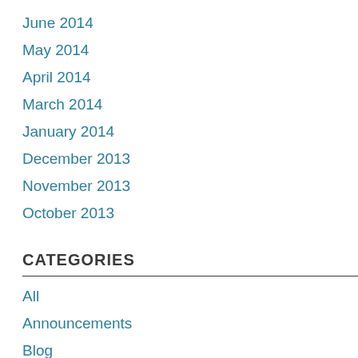June 2014
May 2014
April 2014
March 2014
January 2014
December 2013
November 2013
October 2013
CATEGORIES
All
Announcements
Blog